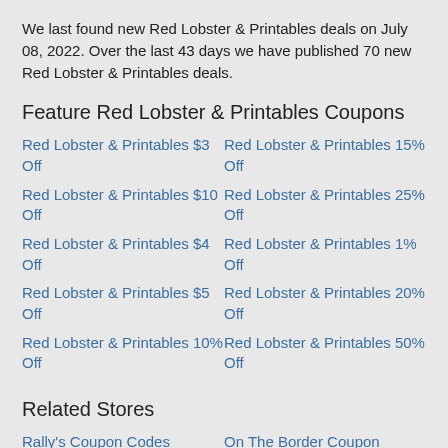We last found new Red Lobster & Printables deals on July 08, 2022. Over the last 43 days we have published 70 new Red Lobster & Printables deals.
Feature Red Lobster & Printables Coupons
Red Lobster & Printables $3 Off
Red Lobster & Printables $10 Off
Red Lobster & Printables $4 Off
Red Lobster & Printables $5 Off
Red Lobster & Printables 10% Off
Red Lobster & Printables 15% Off
Red Lobster & Printables 25% Off
Red Lobster & Printables 1% Off
Red Lobster & Printables 20% Off
Red Lobster & Printables 50% Off
Related Stores
Rally's Coupon Codes
IHOP & Special Offers
On The Border Coupon Codes
Codes